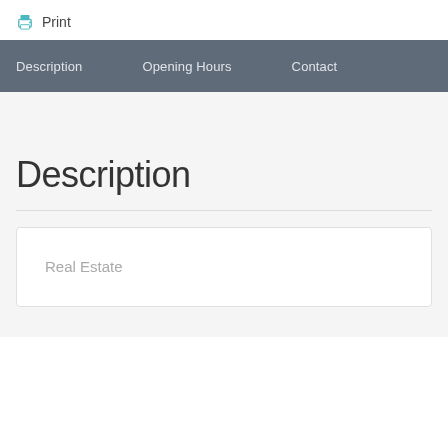Print
Description   Opening Hours   Contact
Description
Real Estate